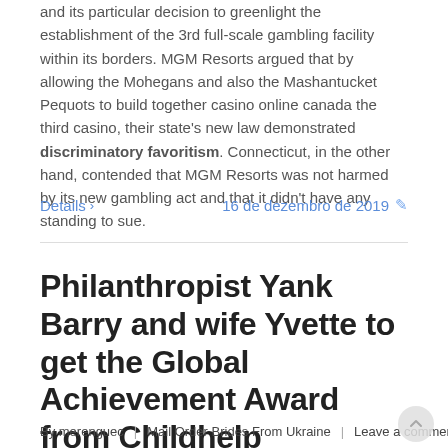and its particular decision to greenlight the establishment of the 3rd full-scale gambling facility within its borders. MGM Resorts argued that by allowing the Mohegans and also the Mashantucket Pequots to build together casino online canada the third casino, their state's new law demonstrated discriminatory favoritism. Connecticut, in the other hand, contended that MGM Resorts was not harmed by its new gambling act and that it didn't have any standing to sue.
Details > | 16 de dezembro de 2019 ✎
Philanthropist Yank Barry and wife Yvette to get the Global Achievement Award from Childhelp
By merenguec | Mail Order Brides From Ukraine | Leave a comment